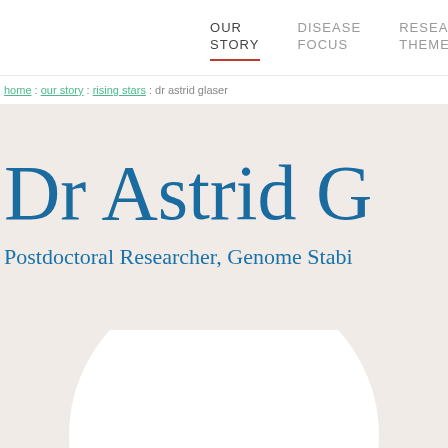OUR STORY | DISEASE FOCUS | RESEARCH THEMES
home : our story : rising stars : dr astrid glaser
Dr Astrid G
Postdoctoral Researcher, Genome Stabi